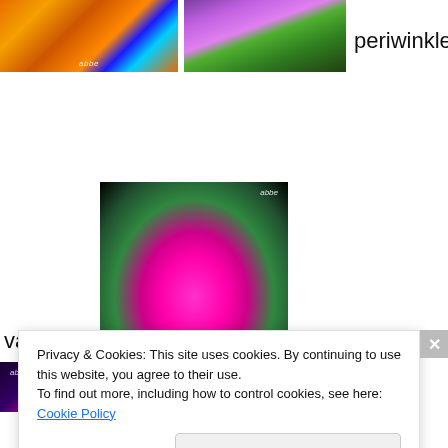[Figure (photo): Colorful abstract/microscopic image with orange, blue, and green hues, with 'abbe' watermark]
[Figure (photo): Close-up photo of a purple/pink flower (periwinkle) with green background]
periwinkle and
[Figure (photo): Pink flower (periwinkle/vinca) with bright green leaves on black background, 'abbe' watermark]
variation,
and this
[Figure (photo): Partial dark image with pink/purple glowing plant, 'abbe' watermark]
Privacy & Cookies: This site uses cookies. By continuing to use this website, you agree to their use.
To find out more, including how to control cookies, see here: Cookie Policy
Close and accept